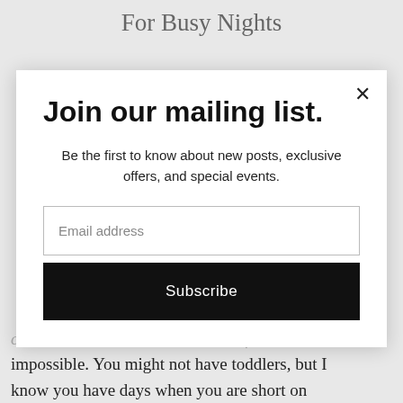For Busy Nights
Join our mailing list.
Be the first to know about new posts, exclusive offers, and special events.
Email address
Subscribe
cooked with two toddlers at home feels almost impossible. You might not have toddlers, but I know you have days when you are short on